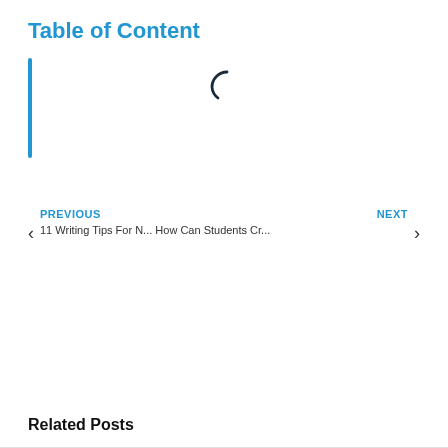Table of Content
[Figure (other): Loading spinner icon (partially rendered C-shape arc in dark color) indicating content is loading]
PREVIOUS
11 Writing Tips For N...
NEXT
How Can Students Cr...
Related Posts